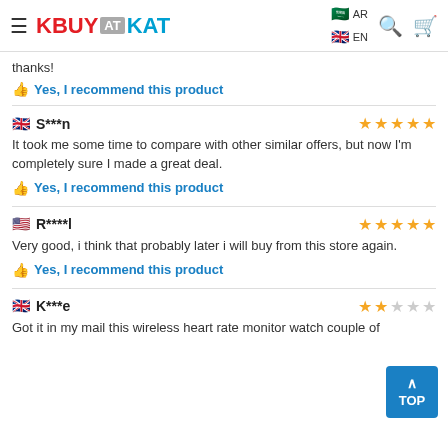BUY AT KAT — navigation header with AR/EN language options, search and cart icons
thanks!
👍 Yes, I recommend this product
🇬🇧 S***n — ★★★★★
It took me some time to compare with other similar offers, but now I'm completely sure I made a great deal.
👍 Yes, I recommend this product
🇺🇸 R****l — ★★★★★
Very good, i think that probably later i will buy from this store again.
👍 Yes, I recommend this product
🇬🇧 K***e — ★★☆☆☆
Got it in my mail this wireless heart rate monitor watch couple of